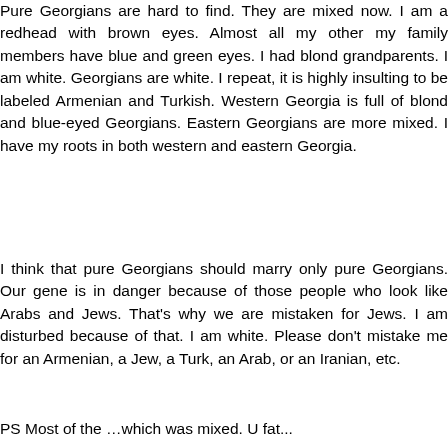Pure Georgians are hard to find. They are mixed now. I am a redhead with brown eyes. Almost all my other my family members have blue and green eyes. I had blond grandparents. I am white. Georgians are white. I repeat, it is highly insulting to be labeled Armenian and Turkish. Western Georgia is full of blond and blue-eyed Georgians. Eastern Georgians are more mixed. I have my roots in both western and eastern Georgia.
I think that pure Georgians should marry only pure Georgians. Our gene is in danger because of those people who look like Arabs and Jews. That's why we are mistaken for Jews. I am disturbed because of that. I am white. Please don't mistake me for an Armenian, a Jew, a Turk, an Arab, or an Iranian, etc.
PS Most of the …which was mixed. U fat...